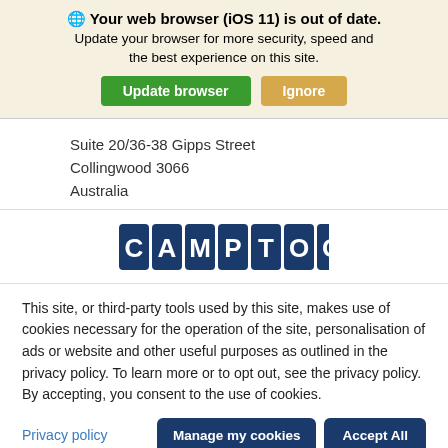🌐 Your web browser (iOS 11) is out of date. Update your browser for more security, speed and the best experience on this site.
Update browser | Ignore
Suite 20/36-38 Gipps Street
Collingwood 3066
Australia
[Figure (logo): CAMPTOO logo — bold white letters on dark blue square tiles]
This site, or third-party tools used by this site, makes use of cookies necessary for the operation of the site, personalisation of ads or website and other useful purposes as outlined in the privacy policy. To learn more or to opt out, see the privacy policy. By accepting, you consent to the use of cookies.
Privacy policy | Manage my cookies | Accept All